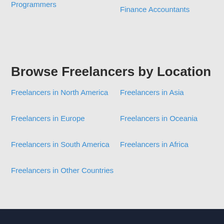Programmers
Finance Accountants
Browse Freelancers by Location
Freelancers in North America
Freelancers in Asia
Freelancers in Europe
Freelancers in Oceania
Freelancers in South America
Freelancers in Africa
Freelancers in Other Countries